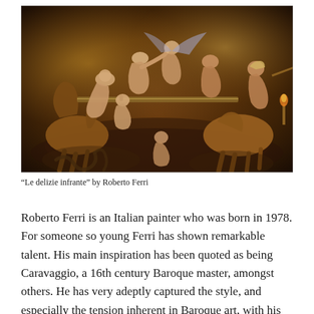[Figure (illustration): A Baroque-style painting titled 'Le delizie infrante' by Roberto Ferri, depicting multiple nude and semi-nude figures in contorted positions, including centaurs and mythological characters, in dark warm tones reminiscent of Caravaggio.]
“Le delizie infrante” by Roberto Ferri
Roberto Ferri is an Italian painter who was born in 1978. For someone so young Ferri has shown remarkable talent. His main inspiration has been quoted as being Caravaggio, a 16th century Baroque master, amongst others. He has very adeptly captured the style, and especially the tension inherent in Baroque art, with his realistic images in contorted positions.